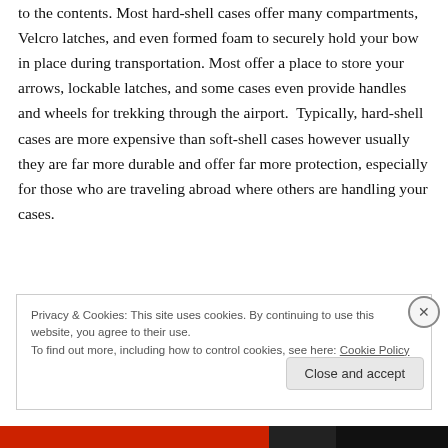to the contents. Most hard-shell cases offer many compartments, Velcro latches, and even formed foam to securely hold your bow in place during transportation. Most offer a place to store your arrows, lockable latches, and some cases even provide handles and wheels for trekking through the airport.  Typically, hard-shell cases are more expensive than soft-shell cases however usually they are far more durable and offer far more protection, especially for those who are traveling abroad where others are handling your cases.
Privacy & Cookies: This site uses cookies. By continuing to use this website, you agree to their use.
To find out more, including how to control cookies, see here: Cookie Policy
Close and accept